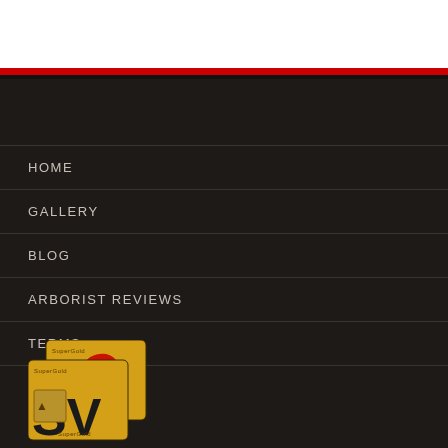HOME
GALLERY
BLOG
ARBORIST REVIEWS
TERMS
[Figure (logo): SuperGold logo with yellow/gold background and stylized SV letters in black, featuring a red splash graphic, shown twice overlapping]